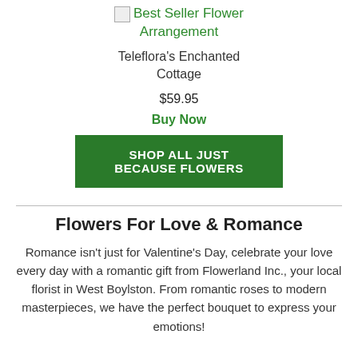[Figure (photo): Broken image placeholder for Best Seller Flower Arrangement]
Best Seller Flower Arrangement
Teleflora's Enchanted Cottage
$59.95
Buy Now
SHOP ALL JUST BECAUSE FLOWERS
Flowers For Love & Romance
Romance isn't just for Valentine's Day, celebrate your love every day with a romantic gift from Flowerland Inc., your local florist in West Boylston. From romantic roses to modern masterpieces, we have the perfect bouquet to express your emotions!